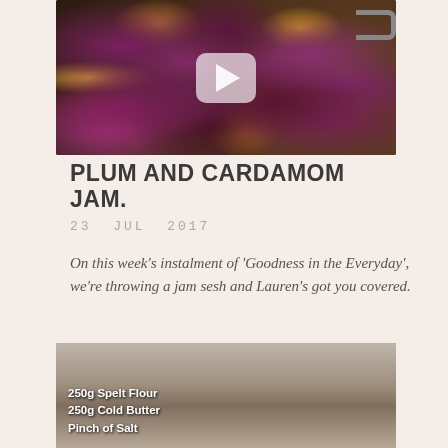[Figure (photo): Video thumbnail of plums in a dark pot with a YouTube-style play button overlay]
PLUM AND CARDAMOM JAM.
23  JUL  2017
On this week's instalment of 'Goodness in the Everyday', we're throwing a jam sesh and Lauren's got you covered.
[Figure (photo): Video thumbnail of a woman in a kitchen with text overlay reading: 250g Spelt Flour, 250g Cold Butter, Pinch of Salt]